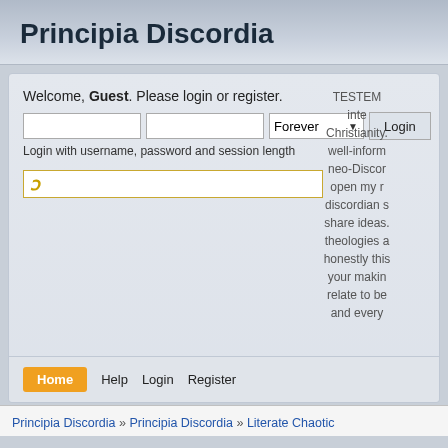Principia Discordia
Welcome, Guest. Please login or register.
Login with username, password and session length
TESTEM inte Christianity. well-inform neo-Discor open my r discordian s share ideas. theologies a honestly this your makin relate to be and every
Principia Discordia » Principia Discordia » Literate Chaotic